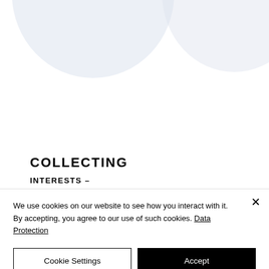[Figure (screenshot): Background decorative shapes — two partially visible large light blue-grey circular/oval shapes arranged side by side at the top of the page]
COLLECTING
INTERESTS –
We use cookies on our website to see how you interact with it. By accepting, you agree to our use of such cookies. Data Protection
Cookie Settings
Accept